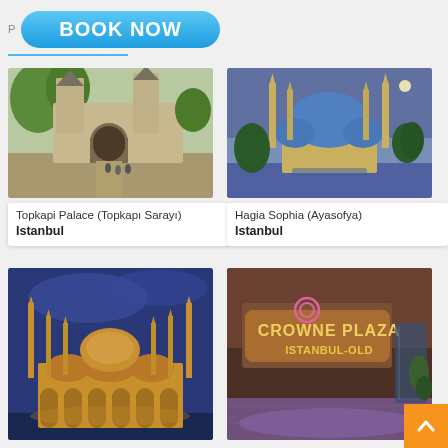BOOK NOW
[Figure (photo): Topkapi Palace entrance gate with towers and trees, visitors walking]
Topkapi Palace (Topkapı Sarayı)
Istanbul
[Figure (photo): Hagia Sophia (Ayasofya) mosque at dusk with minarets and blue domes illuminated]
Hagia Sophia (Ayasofya)
Istanbul
[Figure (photo): Blue Mosque (Sultan Ahmed) illuminated at night with six minarets]
[Figure (photo): Crowne Plaza Istanbul hotel lobby entrance with illuminated sign]